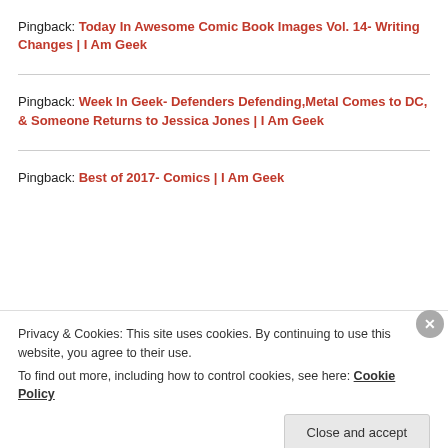Pingback: Today In Awesome Comic Book Images Vol. 14- Writing Changes | I Am Geek
Pingback: Week In Geek- Defenders Defending,Metal Comes to DC, & Someone Returns to Jessica Jones | I Am Geek
Pingback: Best of 2017- Comics | I Am Geek
Privacy & Cookies: This site uses cookies. By continuing to use this website, you agree to their use. To find out more, including how to control cookies, see here: Cookie Policy